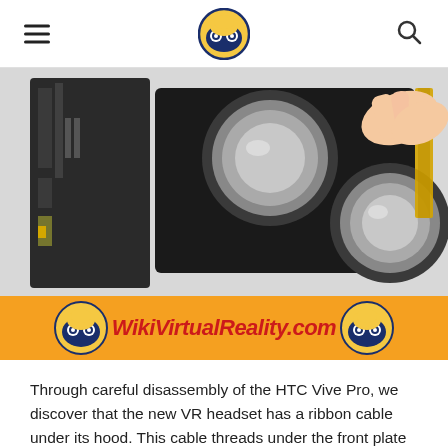WikiVirtualReality.com logo, hamburger menu, search icon
[Figure (photo): Close-up photo of HTC Vive Pro disassembly showing the internal lenses and ribbon cable, with a hand pulling at a flexible cable component]
[Figure (illustration): Orange banner with WikiVirtualReality.com text in red italic and bee mascot logos on either side]
Through careful disassembly of the HTC Vive Pro, we discover that the new VR headset has a ribbon cable under its hood. This cable threads under the front plate and connects to 32 infrared tracking sensors. These sensors are hidden under small cavities visible from the